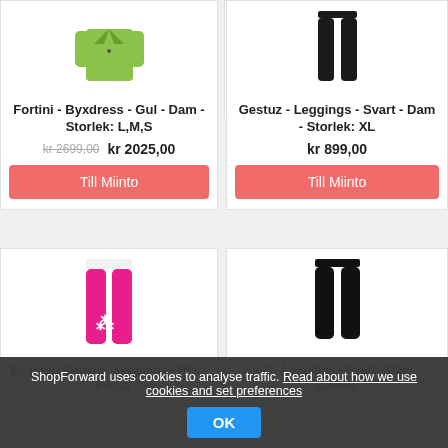[Figure (photo): Green/yellow jacket or shirt - Fortini clothing item]
Fortini - Byxdress - Gul - Dam - Storlek: L,M,S
kr 2699,00  kr 2025,00
Till Miinto
[Figure (photo): Black leggings - Gestuz clothing item]
Gestuz - Leggings - Svart - Dam - Storlek: XL
kr 899,00
Till Miinto
[Figure (photo): Pink/hot-pink leggings - Emporio Armani clothing item]
Emporio Armani - Leggings - Rosa - Flicka
[Figure (photo): Black leggings - Y-3 clothing item]
Y-3 - Leggings - Svart - Dam - Storlek:
ShopForward uses cookies to analyse traffic. Read about how we use cookies and set preferences
OK